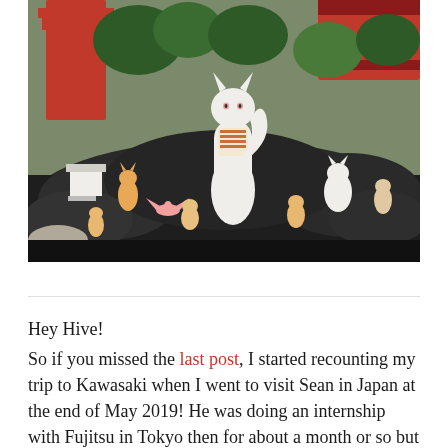[Figure (photo): A Japanese shrine garden with multiple fox (kitsune) statues arranged on volcanic rocks. A large white fox statue stands prominently in the center wearing a patterned bib/scarf. Smaller colored fox statues surround it. Red torii gate and traditional architecture visible in the background with green trees.]
Hey Hive!
So if you missed the last post, I started recounting my trip to Kawasaki when I went to visit Sean in Japan at the end of May 2019! He was doing an internship with Fujitsu in Tokyo then for about a month or so but we missed each other so much he booked me a flight to go and visit him!